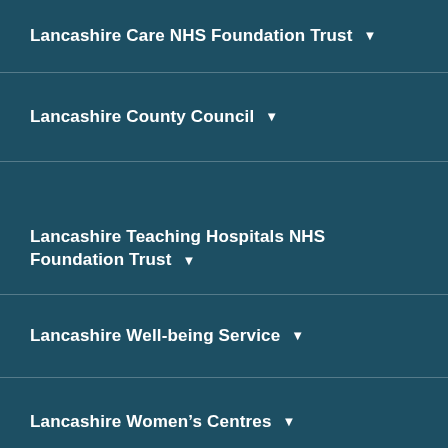Lancashire Care NHS Foundation Trust ▾
Lancashire County Council ▾
Lancashire Teaching Hospitals NHS Foundation Trust ▾
Lancashire Well-being Service ▾
Lancashire Women's Centres ▾